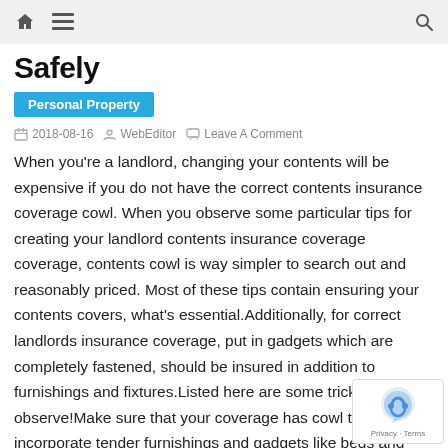Navigation bar with home, menu, and search icons
Safely
Personal Property
2018-08-16   WebEditor   Leave A Comment
When you're a landlord, changing your contents will be expensive if you do not have the correct contents insurance coverage cowl. When you observe some particular tips for creating your landlord contents insurance coverage coverage, contents cowl is way simpler to search out and reasonably priced. Most of these tips contain ensuring your contents covers, what's essential.Additionally, for correct landlords insurance coverage, put in gadgets which are completely fastened, should be insured in addition to furnishings and fixtures.Listed here are some tricks to observe!Make sure that your coverage has cowl to incorporate tender furnishings and gadgets like beds and ca... stuff that is costly to interchange, however important.